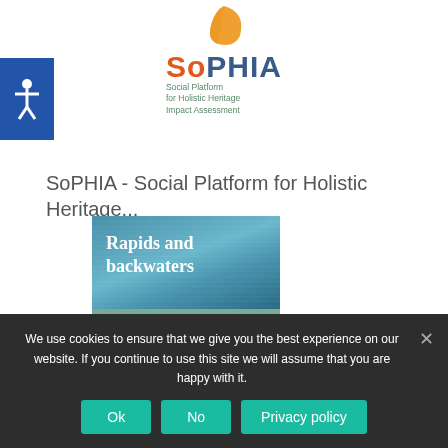[Figure (logo): SoPHIA logo with orange leaf graphic and text 'SoPHIA Social Platform for Holistic Heritage Impact Assessment']
SoPHIA - Social Platform for Holistic Heritage...
[Figure (illustration): Book cover titled 'Rapids and backwaters' with subtitle 'Adapting fast and slow to a digital cultural turn'. Top half shows water/ocean background in blue, bottom half in sage green.]
We use cookies to ensure that we give you the best experience on our website. If you continue to use this site we will assume that you are happy with it.